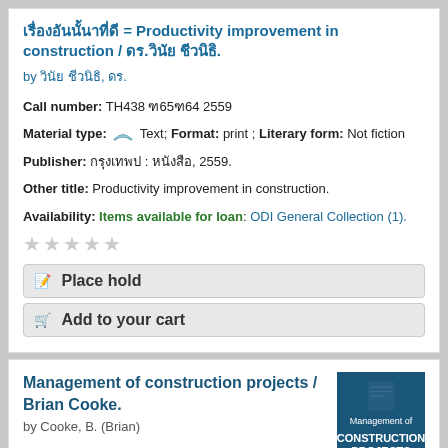การเพิ่มผลผลิตในงานก่อสร้าง = Productivity improvement in construction / ดร.วินัย ชัวนิธิ.
by วินัย ชัวนิธิ, ดร.
Call number: TH438 ก65ก64 2559
Material type: Text; Format: print ; Literary form: Not fiction
Publisher: กรุงเทพฯ : วิศวกรรม, 2559.
Other title: Productivity improvement in construction.
Availability: Items available for loan: ODI General Collection (1).
Place hold
Add to your cart
Management of construction projects / Brian Cooke.
by Cooke, B. (Brian)